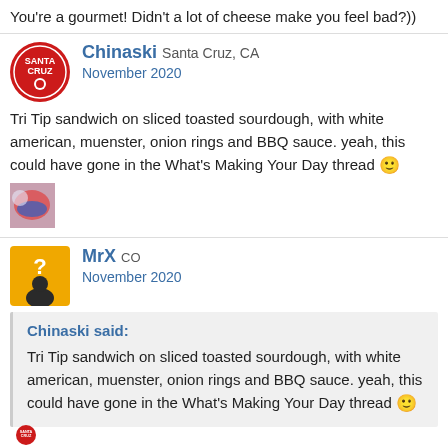You're a gourmet! Didn't a lot of cheese make you feel bad?))
Chinaski Santa Cruz, CA
November 2020
Tri Tip sandwich on sliced toasted sourdough, with white american, muenster, onion rings and BBQ sauce. yeah, this could have gone in the What's Making Your Day thread 🙂
MrX CO
November 2020
Chinaski said:
Tri Tip sandwich on sliced toasted sourdough, with white american, muenster, onion rings and BBQ sauce. yeah, this could have gone in the What's Making Your Day thread 🙂
Tri Tip + sourdough ... that sounds like a solid NoCal sandwich my man.